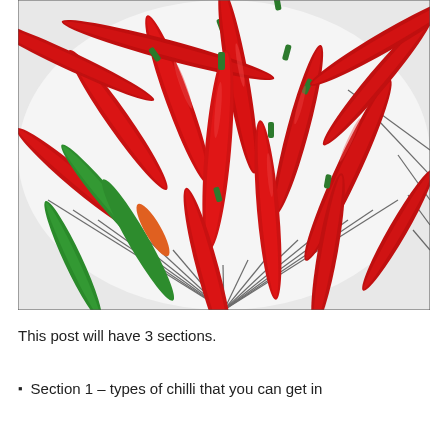[Figure (photo): A photo of a large pile of red chilli peppers, mostly bright red with some green ones visible, arranged on a round white plate with black stripe pattern.]
This post will have 3 sections.
Section 1 – types of chilli that you can get in